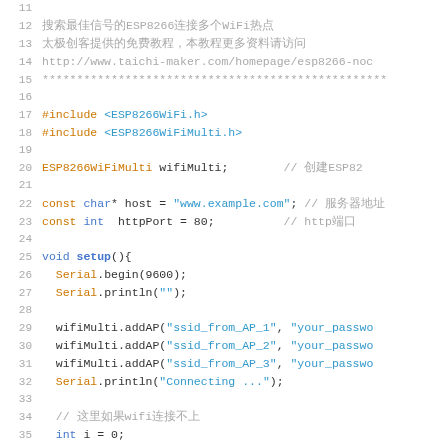[Figure (screenshot): Arduino/C++ code editor screenshot showing lines 11-39 of an ESP8266 WiFi multi-access-point HTTP client sketch. Line numbers in grey on left, code with syntax highlighting (orange keywords, blue strings/functions, grey comments).]